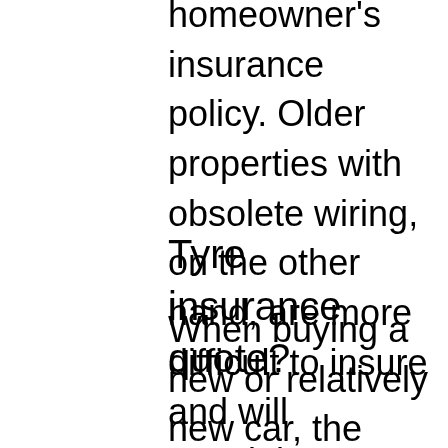homeowner's insurance policy. Older properties with obsolete wiring, on the other hand, are more difficult to insure and will certainly cost more.
Tyre insurance quote?
When buying a new or relatively new car, the majority of tyre or run flat insurance is obtained from the dealership.